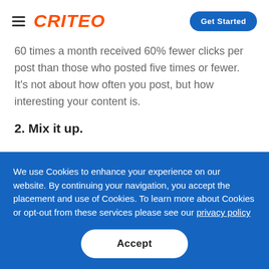CRITEO | Get Started
60 times a month received 60% fewer clicks per post than those who posted five times or fewer. It’s not about how often you post, but how interesting your content is.
2. Mix it up.
We use Cookies to enhance your experience on our website. By continuing your navigation, you accept the placement and use of Cookies. To learn more about Cookies or opt-out from these services please see our privacy policy
Accept